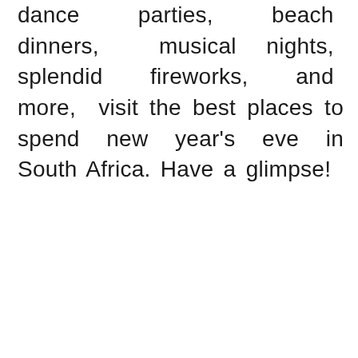dance parties, beach dinners, musical nights, splendid fireworks, and more, visit the best places to spend new year's eve in South Africa. Have a glimpse!